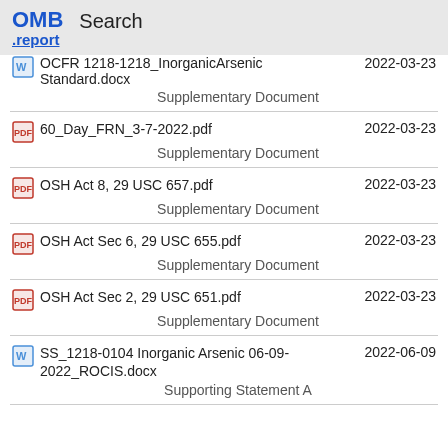OMB .report  Search
OCFR_1218-1218_InorganicArsenic Standard.docx  2022-03-23  Supplementary Document
60_Day_FRN_3-7-2022.pdf  2022-03-23  Supplementary Document
OSH Act 8, 29 USC 657.pdf  2022-03-23  Supplementary Document
OSH Act Sec 6, 29 USC 655.pdf  2022-03-23  Supplementary Document
OSH Act Sec 2, 29 USC 651.pdf  2022-03-23  Supplementary Document
SS_1218-0104 Inorganic Arsenic 06-09-2022_ROCIS.docx  2022-06-09  Supporting Statement A